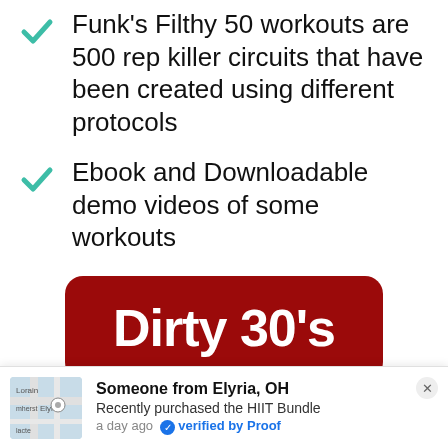Funk's Filthy 50 workouts are 500 rep killer circuits that have been created using different protocols
Ebook and Downloadable demo videos of some workouts
[Figure (infographic): Dark red speech bubble with white bold text reading 'Dirty 30's' with a triangular tail pointing down-left]
Someone from Elyria, OH
Recently purchased the HIIT Bundle
a day ago  verified by Proof